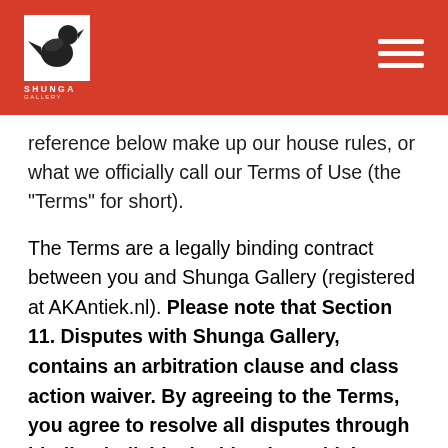[Figure (logo): Shunga Gallery logo — white silhouette of a crouching figure on red background, with text SHUNGA below]
reference below make up our house rules, or what we officially call our Terms of Use (the "Terms" for short).
The Terms are a legally binding contract between you and Shunga Gallery (registered at AKAntiek.nl). Please note that Section 11. Disputes with Shunga Gallery, contains an arbitration clause and class action waiver. By agreeing to the Terms, you agree to resolve all disputes through binding individual arbitration, which means that you waive any right to have those disputes decided by a judge or jury, and that you waive your right to participate in class